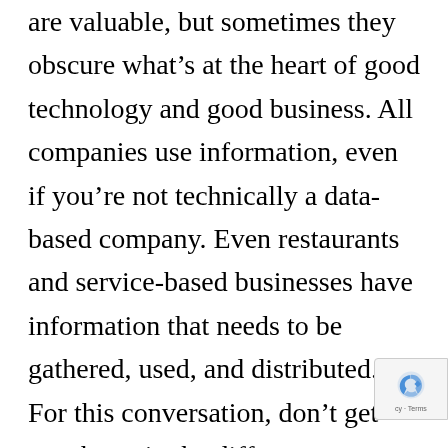are valuable, but sometimes they obscure what's at the heart of good technology and good business. All companies use information, even if you're not technically a data-based company. Even restaurants and service-based businesses have information that needs to be gathered, used, and distributed. For this conversation, don't get caught up in the difference between information and data. We're thinking high level here. Instead, let's talk about the flow of information/data in your company. How does data flow into your company, how do you use it, and how does it leave? As we talk to potential clients, we like to begin by identifying how data moves within